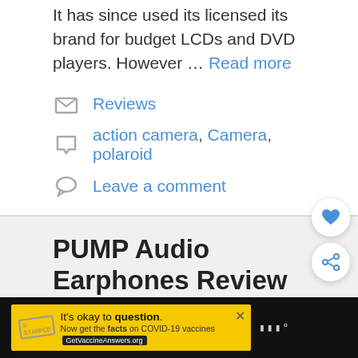It has since used its licensed its brand for budget LCDs and DVD players. However … Read more
Reviews
action camera, Camera, polaroid
Leave a comment
PUMP Audio Earphones Review
3rd December 2014 by James Smythe
[Figure (other): COVID-19 vaccine advertisement banner: It's okay to question. Now get the facts on COVID-19 vaccines. GetVaccineAnswers.org]